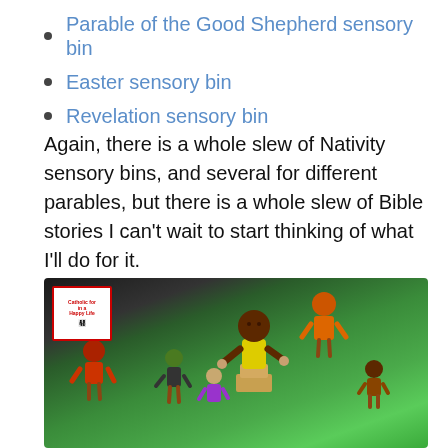Parable of the Good Shepherd sensory bin
Easter sensory bin
Revelation sensory bin
Again, there is a whole slew of Nativity sensory bins, and several for different parables, but there is a whole slew of Bible stories I can’t wait to start thinking of what I’ll do for it.
[Figure (photo): A sensory bin filled with green dyed rice containing multiple small wooden figure toys representing Bible characters, placed in a clear plastic bin. A small logo watermark is visible in the top-left corner of the image.]